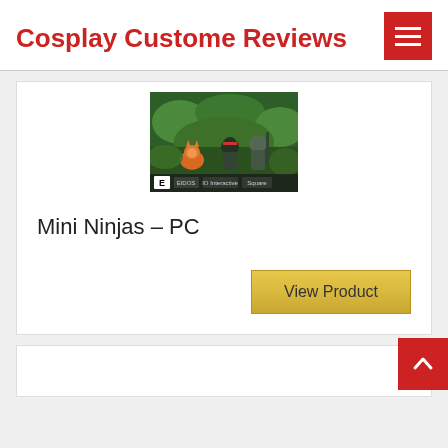Cosplay Custome Reviews
[Figure (screenshot): Mini Ninjas PC game cover art showing animated ninja characters in a green forest setting with an E rating badge]
Mini Ninjas – PC
View Product